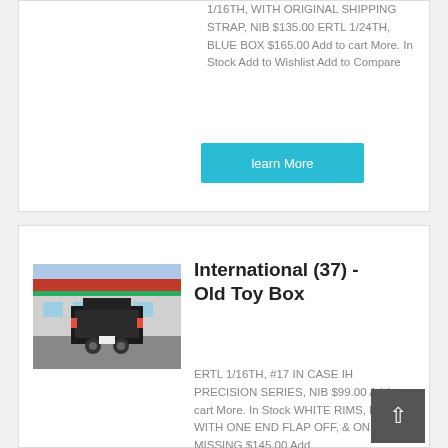1/16TH, WITH ORIGINAL SHIPPING STRAP, NIB $135.00 ERTL 1/24TH, BLUE BOX $165.00 Add to cart More. In Stock Add to Wishlist Add to Compare
learn More
[Figure (photo): Photo of a truck viewed from behind in a parking lot or street setting, with a building in the background featuring a red and green sign.]
International (37) - Old Toy Box
ERTL 1/16TH, #17 IN CASE IH PRECISION SERIES, NIB $99.00 Add to cart More. In Stock WHITE RIMS, NIB, WITH ONE END FLAP OFF, & ONE MISSING $145.00 Add